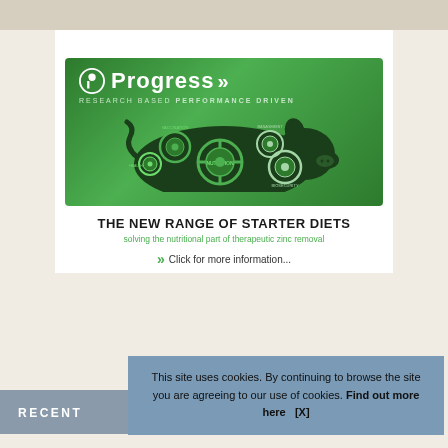[Figure (illustration): Progress brand advertisement banner showing a green background with a pig silhouette containing gears labeled Health, Vaccination, Nutrition, Management, Biosecurity. Logo reads 'Progress' with chevrons, tagline 'Research Based Performance Driven'. Below: 'THE NEW RANGE OF STARTER DIETS' and 'solving the nutritional part of therapeutic zinc removal'. Green chevrons with 'Click for more information...']
This site uses cookies. By continuing to browse the site you are agreeing to our use of cookies. Find out more here   [X]
RECENT